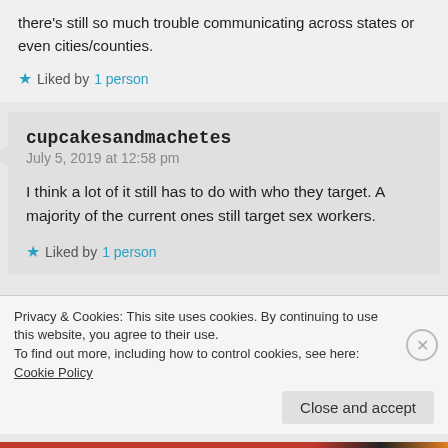there's still so much trouble communicating across states or even cities/counties.
Liked by 1 person
cupcakesandmachetes
July 5, 2019 at 12:58 pm
I think a lot of it still has to do with who they target. A majority of the current ones still target sex workers.
Liked by 1 person
Privacy & Cookies: This site uses cookies. By continuing to use this website, you agree to their use.
To find out more, including how to control cookies, see here: Cookie Policy
Close and accept